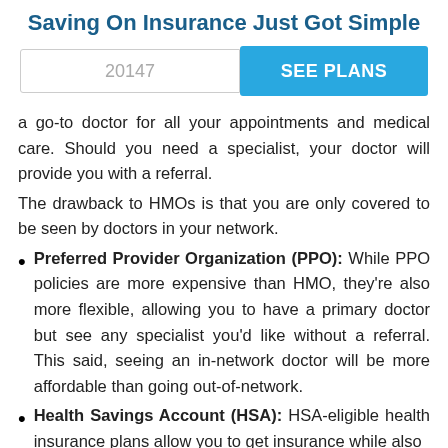Saving On Insurance Just Got Simple
20147
SEE PLANS
a go-to doctor for all your appointments and medical care. Should you need a specialist, your doctor will provide you with a referral.
The drawback to HMOs is that you are only covered to be seen by doctors in your network.
Preferred Provider Organization (PPO): While PPO policies are more expensive than HMO, they're also more flexible, allowing you to have a primary doctor but see any specialist you'd like without a referral. This said, seeing an in-network doctor will be more affordable than going out-of-network.
Health Savings Account (HSA): HSA-eligible health insurance plans allow you to get insurance while also